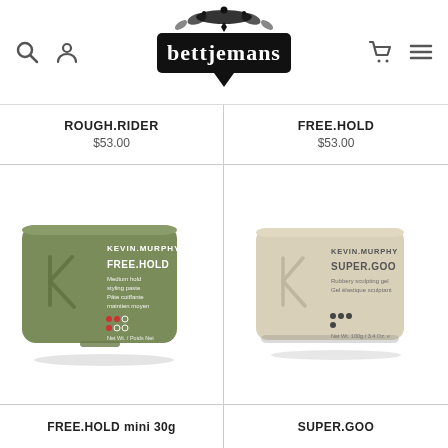[Figure (logo): Bettjemans logo with decorative flourish, black text on white]
ROUGH.RIDER
$53.00
FREE.HOLD
$53.00
[Figure (photo): Kevin Murphy FREE.HOLD green compact container, medium hold styling paste, 30g]
[Figure (photo): Kevin Murphy SUPER.GOO beige/cream compact container, rubbery sculpting gel]
FREE.HOLD mini 30g
SUPER.GOO